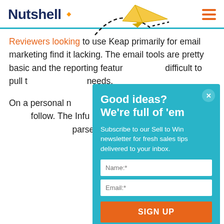Nutshell
[Figure (illustration): Yellow paper airplane illustration in the header navigation area, with a dashed arc trajectory line overlay]
Reviewers looking to use Keap primarily for email marketing find it lacking. The email tools are pretty basic and the reporting features make it difficult to pull the metrics you need.
On a personal note, Keap's interface is difficult both for your team and clients to follow. The Infusionsoft pricing page as Keap's and... hard to parse the actual...
[Figure (screenshot): Modal popup with teal/blue background containing newsletter signup form titled 'Good ideas? We're full of 'em' with Name and Email input fields and orange SIGN UP button]